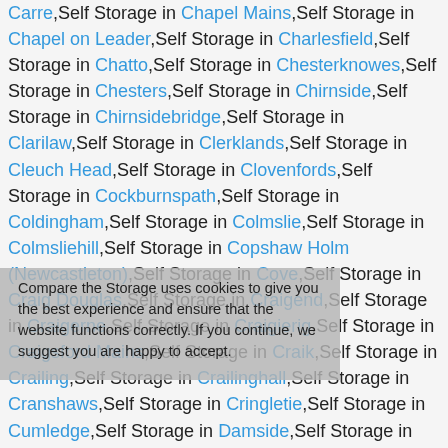Carre,Self Storage in Chapel Mains,Self Storage in Chapel on Leader,Self Storage in Charlesfield,Self Storage in Chatto,Self Storage in Chesterknowes,Self Storage in Chesters,Self Storage in Chirnside,Self Storage in Chirnsidebridge,Self Storage in Clarilaw,Self Storage in Clerklands,Self Storage in Cleuch Head,Self Storage in Clovenfords,Self Storage in Cockburnspath,Self Storage in Coldingham,Self Storage in Colmslie,Self Storage in Colmsliehill,Self Storage in Copshaw Holm (Newcastleton),Self Storage in Cove,Self Storage in Craig Douglas,Self Storage in Craigend,Self Storage in Craigerne,Self Storage in Craigierig,Self Storage in Craigsford Mains,Self Storage in Craik,Self Storage in Crailing,Self Storage in Crailinghall,Self Storage in Cranshaws,Self Storage in Cringletie,Self Storage in Cumledge,Self Storage in Damside,Self Storage in Darnhall Mains,Self Storage in Darnick,Self Storage in Denholm,Self Storage in Denholmhill,Self Storage in Dingleton,Self Storage in Dinlabyre,Self Storage in Dolphinston,Self Storage in Drumelzier,Self Storage in Dryburgh,Self Storage in
Compare the Storage uses cookies to give you the best experience and ensure that the website functions correctly. If you continue, we suggest you are happy to accept.